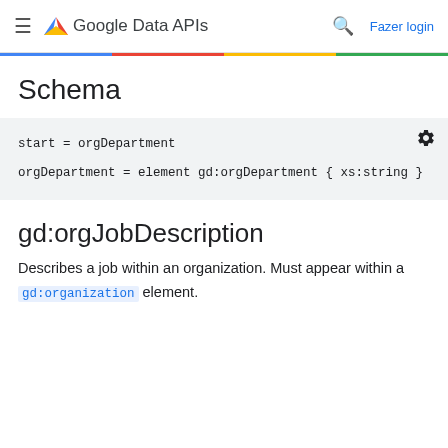≡  <> Google Data APIs  🔍  Fazer login
Schema
start = orgDepartment

orgDepartment = element gd:orgDepartment { xs:string }
gd:orgJobDescription
Describes a job within an organization. Must appear within a gd:organization element.